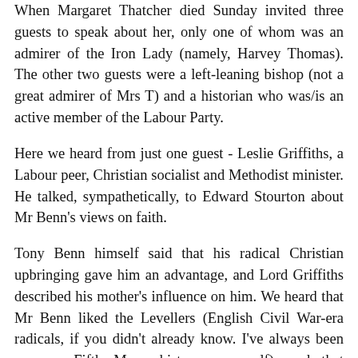When Margaret Thatcher died Sunday invited three guests to speak about her, only one of whom was an admirer of the Iron Lady (namely, Harvey Thomas). The other two guests were a left-leaning bishop (not a great admirer of Mrs T) and a historian who was/is an active member of the Labour Party.
Here we heard from just one guest - Leslie Griffiths, a Labour peer, Christian socialist and Methodist minister. He talked, sympathetically, to Edward Stourton about Mr Benn's views on faith.
Tony Benn himself said that his radical Christian upbringing gave him an advantage, and Lord Griffiths described his mother's influence on him. We heard that Mr Benn liked the Levellers (English Civil War-era radicals, if you didn't already know. I've always been more a Fifth Monarchist man myself), and that congregationalists [the tradition he was brought up in] are the nearest thing we have to the Levellers today. He was a "remarkable" man, said Lord Griffiths, but he ended [to my amusement] by attacking the most ultra-left of Britain's big political beasts for his "privileged position", calling him "a patrician" from a "quite wealthy background" and saying that, as a result, what he said "didn't always ring true" [which is